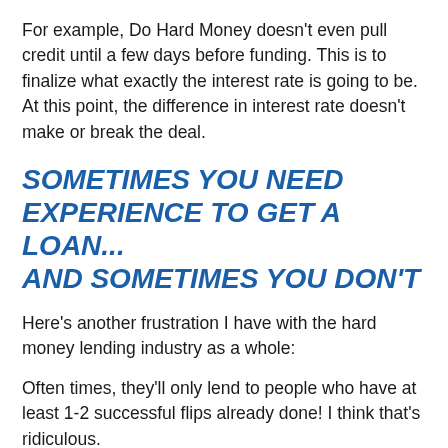For example, Do Hard Money doesn't even pull credit until a few days before funding. This is to finalize what exactly the interest rate is going to be. At this point, the difference in interest rate doesn't make or break the deal.
SOMETIMES YOU NEED EXPERIENCE TO GET A LOAN... AND SOMETIMES YOU DON'T
Here's another frustration I have with the hard money lending industry as a whole:
Often times, they'll only lend to people who have at least 1-2 successful flips already done! I think that's ridiculous.